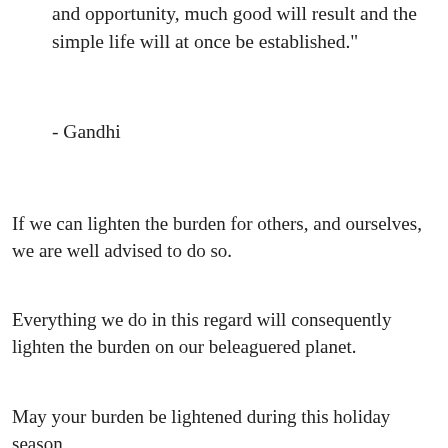and opportunity, much good will result and the simple life will at once be established."
- Gandhi
If we can lighten the burden for others, and ourselves, we are well advised to do so.
Everything we do in this regard will consequently lighten the burden on our beleaguered planet.
May your burden be lightened during this holiday season